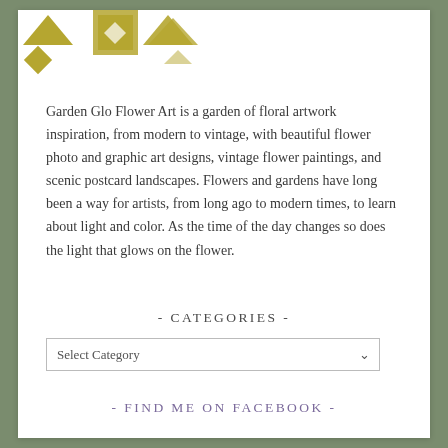[Figure (logo): Garden Glo Flower Art logo — geometric gold/olive diamond and triangle pattern shapes]
Garden Glo Flower Art is a garden of floral artwork inspiration, from modern to vintage, with beautiful flower photo and graphic art designs, vintage flower paintings, and scenic postcard landscapes. Flowers and gardens have long been a way for artists, from long ago to modern times, to learn about light and color. As the time of the day changes so does the light that glows on the flower.
- CATEGORIES -
Select Category
- FIND ME ON FACEBOOK -